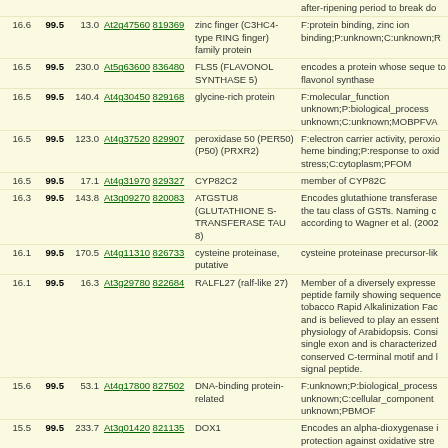| Score1 | Score2 | Score3 | Gene ID | AGI | Description | Function |
| --- | --- | --- | --- | --- | --- | --- |
|  |  |  |  |  |  | after-ripening period to break do |
| 16.6 | 99.5 | 13.0 | At2g47560 | 819369 | zinc finger (C3HC4-type RING finger) family protein | F:protein binding, zinc ion binding;P:unknown;C:unknown;R |
| 16.5 | 99.5 | 230.0 | At5g63600 | 836480 | FLS5 (FLAVONOL SYNTHASE 5) | encodes a protein whose sequence to flavonol synthase |
| 16.5 | 99.5 | 140.4 | At4g30450 | 829168 | glycine-rich protein | F:molecular_function unknown;P:biological_process unknown;C:unknown;MOBPFVA |
| 16.5 | 99.5 | 123.0 | At4g37520 | 829907 | peroxidase 50 (PER50) (P50) (PRXR2) | F:electron carrier activity, peroxidase, heme binding;P:response to oxidative stress;C:cytoplasm;PFOM |
| 16.5 | 99.5 | 17.1 | At4g31970 | 829327 | CYP82C2 | member of CYP82C |
| 16.3 | 99.5 | 143.8 | At3g09270 | 820083 | ATGSTU8 (GLUTATHIONE S-TRANSFERASE TAU 8) | Encodes glutathione transferase belonging to the tau class of GSTs. Naming convention according to Wagner et al. (2002) |
| 16.1 | 99.5 | 170.5 | At4g11310 | 826733 | cysteine proteinase, putative | cysteine proteinase precursor-like |
| 16.1 | 99.5 | 16.3 | At3g29780 | 822684 | RALFL27 (ralf-like 27) | Member of a diversely expressed peptide family showing sequence similarity to tobacco Rapid Alkalinization Factor (RALF) and is believed to play an essential role in physiology of Arabidopsis. Consists of a single exon and is characterized by a conserved C-terminal motif and N-terminal signal peptide. |
| 15.6 | 99.5 | 53.1 | At4g17800 | 827502 | DNA-binding protein-related | F:unknown;P:biological_process unknown;C:cellular_component unknown;PBMOF |
| 15.5 | 99.5 | 233.7 | At3g01420 | 821135 | DOX1 | Encodes an alpha-dioxygenase involved in protection against oxidative stress and cell death. Induced in response to Sa, wounding, and oxidative stress. Independent of induction by salicylic acid. |
|  |  |  |  |  |  | Predicted to encode a PR (pathogenesis-related) peptide that belongs to the proteinase inhibitor family. Six proteinase has protein encoding genes are |
| 15.4 | 99.4 | 180.2 | At5g42560 | 834278 | serine-type endopeptidase | has protein encoding genes are |